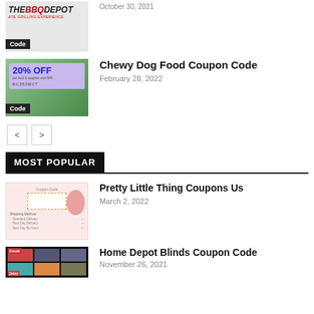[Figure (photo): BBQ Depot logo thumbnail with Code badge]
October 30, 2021
Chewy Dog Food Coupon Code
[Figure (photo): Chewy 20% OFF coupon image with Code badge]
February 28, 2022
< >
MOST POPULAR
Pretty Little Thing Coupons Us
[Figure (screenshot): Pretty Little Thing coupon code screenshot]
March 2, 2022
Home Depot Blinds Coupon Code
[Figure (photo): Home Depot blinds photo collage]
November 26, 2021